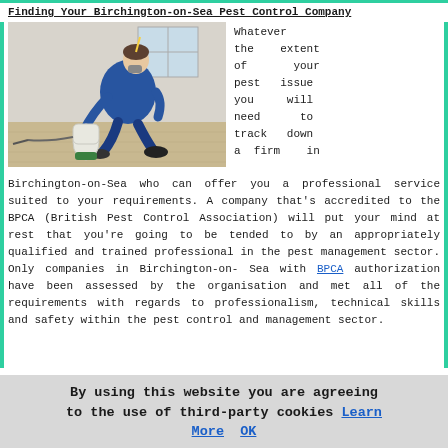Finding Your Birchington-on-Sea Pest Control Company
[Figure (photo): A pest control technician in blue overalls crouching on a wooden floor, using a spray pump/pressure sprayer near a wall, indoors.]
Whatever the extent of your pest issue you will need to track down a firm in
Birchington-on-Sea who can offer you a professional service suited to your requirements. A company that's accredited to the BPCA (British Pest Control Association) will put your mind at rest that you're going to be tended to by an appropriately qualified and trained professional in the pest management sector. Only companies in Birchington-on-Sea with BPCA authorization have been assessed by the organisation and met all of the requirements with regards to professionalism, technical skills and safety within the pest control and management sector.
By using this website you are agreeing to the use of third-party cookies Learn More  OK